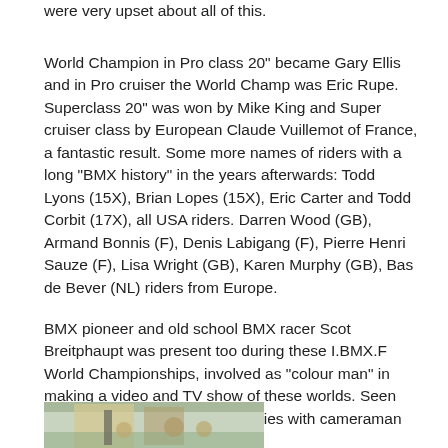were very upset about all of this.
World Champion in Pro class 20" became Gary Ellis and in Pro cruiser the World Champ was Eric Rupe. Superclass 20" was won by Mike King and Super cruiser class by European Claude Vuillemot of France, a fantastic result. Some more names of riders with a long "BMX history" in the years afterwards: Todd Lyons (15X), Brian Lopes (15X), Eric Carter and Todd Corbit (17X), all USA riders. Darren Wood (GB), Armand Bonnis (F), Denis Labigang (F), Pierre Henri Sauze (F), Lisa Wright (GB), Karen Murphy (GB), Bas de Bever (NL) riders from Europe.
BMX pioneer and old school BMX racer Scot Breitphaupt was present too during these I.BMX.F World Championships, involved as "colour man" in making a video and TV show of these worlds. Seen here is Scot co-ordinating activities with cameraman and crew.
[Figure (photo): Outdoor photo showing Scot Breitphaupt with cameraman and crew at I.BMX.F World Championships]